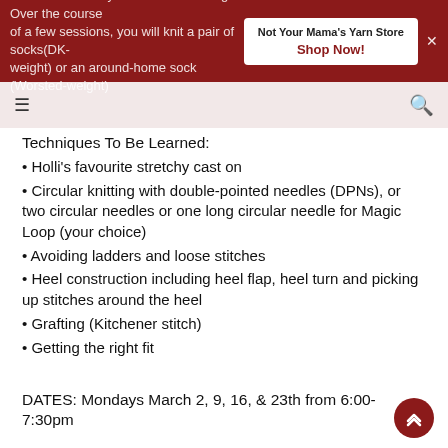Not Your Mama's Yarn Store  Shop Now!
while and is ready for a fresh challenge. Over the course of a few sessions, you will knit a pair of socks (DK-weight) or an around-home sock (Worsted-weight)
Techniques To Be Learned:
Holli's favourite stretchy cast on
Circular knitting with double-pointed needles (DPNs), or two circular needles or one long circular needle for Magic Loop (your choice)
Avoiding ladders and loose stitches
Heel construction including heel flap, heel turn and picking up stitches around the heel
Grafting (Kitchener stitch)
Getting the right fit
DATES: Mondays March 2, 9, 16, & 23th from 6:00-7:30pm